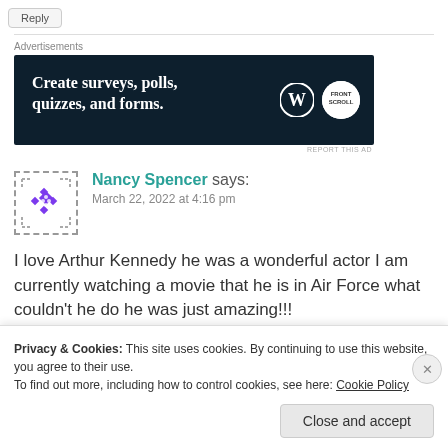Reply
Advertisements
[Figure (other): Advertisement banner: dark navy background with text 'Create surveys, polls, quizzes, and forms.' with WordPress and crown logos]
REPORT THIS AD
Nancy Spencer says:
March 22, 2022 at 4:16 pm
I love Arthur Kennedy he was a wonderful actor I am currently watching a movie that he is in Air Force what couldn't he do he was just amazing!!!
Privacy & Cookies: This site uses cookies. By continuing to use this website, you agree to their use.
To find out more, including how to control cookies, see here: Cookie Policy
Close and accept